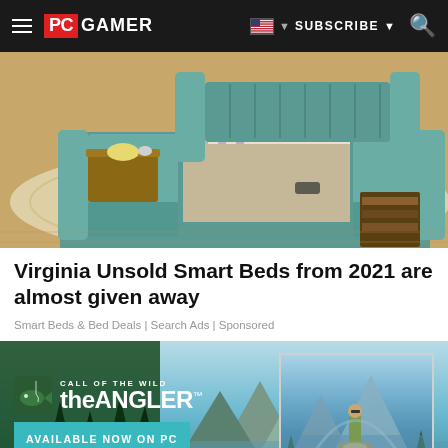PC GAMER | SUBSCRIBE
[Figure (photo): Photo of a luxury smart bed with teal upholstery, armrests, side table with food, bookshelf at foot, on a patterned rug in a bedroom setting.]
Virginia Unsold Smart Beds from 2021 are almost given away
Smart Beds & Bed Deals | Search Ads | Sponsored
[Figure (advertisement): Call of the Wild: the Angler game advertisement banner. Logo with fish icon on green forest and lake background. Text: CALL OF THE WILD theANGLER™. AVAILABLE NOW ON PC. Right side shows game screenshot of man holding large fish near mountain lake with PEGI 7 rating badge.]